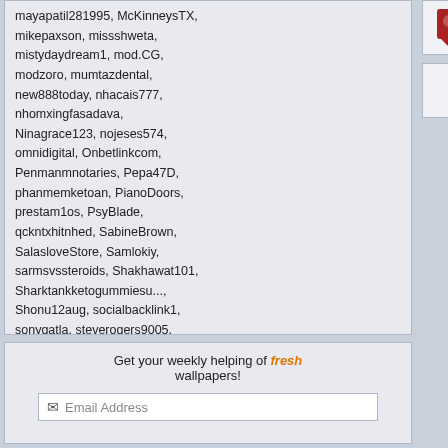mayapatil281995, McKinneysTX, mikepaxson, missshweta, mistydaydream1, mod.CG, modzoro, mumtazdental, new888today, nhacais777, nhomxingfasadava, Ninagrace123, nojeses574, omnidigital, Onbetlinkcom, Penmanmnotaries, Pepa47D, phanmemketoan, PianoDoors, prestam1os, PsyBlade, qckntxhitnhed, SabineBrown, SalasloveStore, Samlokiy, sarmsvssteroids, Shakhawat101, Sharktankketogummiesu..., Shonu12aug, socialbacklink1, sonygatla, steverogers9005, susiestravelweb, SwastikPackersinMumba..., taigamekingfunus, texasnurselawyers, theglobalcitysvn24, theparkavenuecity, ThorsenBryan99, tiptopumzug, top10vietnamta, topd026, trainwellnessbike, Tropics777, tyrestore, valeriakorrie, virtualpangeaseo, vn138biz1, w88betfun, xxLuxury777xx
Most users ever online was 150,759 on 9/11/14.
Get your weekly helping of fresh wallpapers!
Email Address
wonderful place 😊 +1f
View All Co...